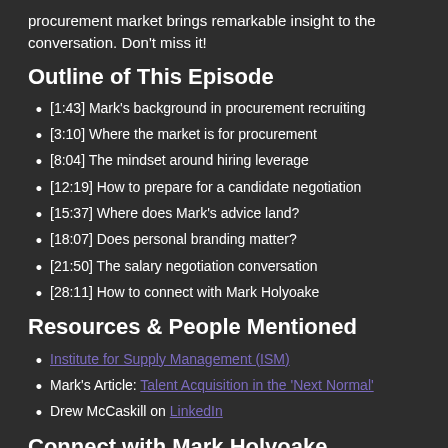procurement market brings remarkable insight to the conversation. Don't miss it!
Outline of This Episode
[1:43] Mark's background in procurement recruiting
[3:10] Where the market is for procurement
[8:04] The mindset around hiring leverage
[12:19] How to prepare for a candidate negotiation
[15:37] Where does Mark's advice land?
[18:07] Does personal branding matter?
[21:50] The salary negotiation conversation
[28:11] How to connect with Mark Holyoake
Resources & People Mentioned
Institute for Supply Management (ISM)
Mark's Article: Talent Acquisition in the 'Next Normal'
Drew McCaskill on LinkedIn
Connect with Mark Holyoake